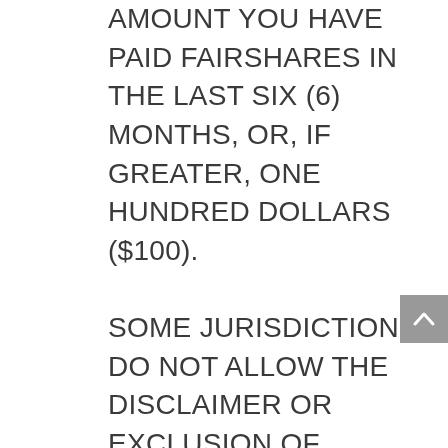AMOUNT YOU HAVE PAID FAIRSHARES IN THE LAST SIX (6) MONTHS, OR, IF GREATER, ONE HUNDRED DOLLARS ($100). SOME JURISDICTIONS DO NOT ALLOW THE DISCLAIMER OR EXCLUSION OF CERTAIN WARRANTIES OR THE LIMITATION OR EXCLUSION OF LIABILITY FOR INCIDENTAL OR CONSEQUENTIAL DAMAGES. ACCORDINGLY, SOME OF THE ABOVE LIMITATIONS SET FORTH ABOVE MAY NOT APPLY TO YOU OR BE ENFORCEABLE WITH RESPECT TO YOU. IF YOU ARE DISSATISFIED WITH ANY PORTION OF THE SERVICE OR WITH THESE TERMS OF SERVICE, YOUR SOLE